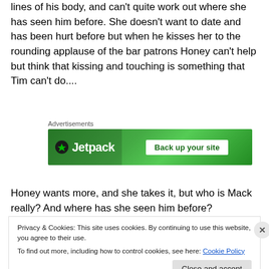lines of his body, and can't quite work out where she has seen him before. She doesn't want to date and has been hurt before but when he kisses her to the rounding applause of the bar patrons Honey can't help but think that kissing and touching is something that Tim can't do....
[Figure (other): Jetpack advertisement banner with green background showing Jetpack logo and 'Back up your site' text]
Honey wants more, and she takes it, but who is Mack really? And where has she seen him before?
Privacy & Cookies: This site uses cookies. By continuing to use this website, you agree to their use.
To find out more, including how to control cookies, see here: Cookie Policy